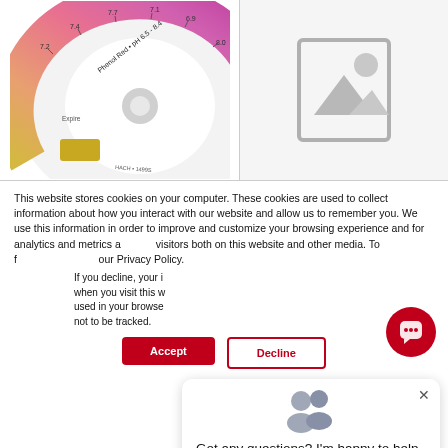[Figure (photo): Phenol Red pH 6.5-8.4 color wheel/disc showing pH color gradients from yellow to dark pink, with Expire label visible]
[Figure (photo): Placeholder image icon (grey frame with mountain/sun graphic) on light grey background]
This website stores cookies on your computer. These cookies are used to collect information about how you interact with our website and allow us to remember you. We use this information in order to improve and customize your browsing experience and for analytics and metrics a visitors both on this website and other media. To f our Privacy Policy.
If you decline, your i when you visit this w used in your browse not to be tracked.
[Figure (screenshot): Chat popup widget with two avatar icons and text: Got any questions? I'm happy to help. with an X close button]
Accept
Decline
[Figure (other): Red circular chat FAB button with speech bubble icon]